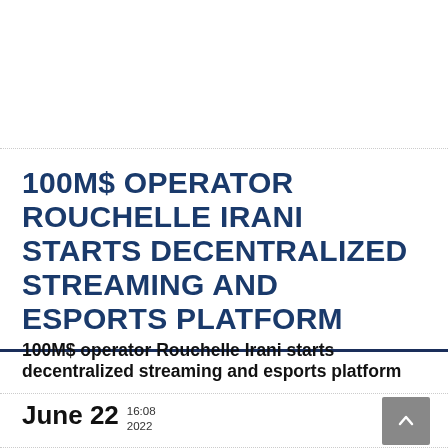100M$ OPERATOR ROUCHELLE IRANI STARTS DECENTRALIZED STREAMING AND ESPORTS PLATFORM
100M$ operator Rouchelle Irani starts decentralized streaming and esports platform
June 22  16:08  2022